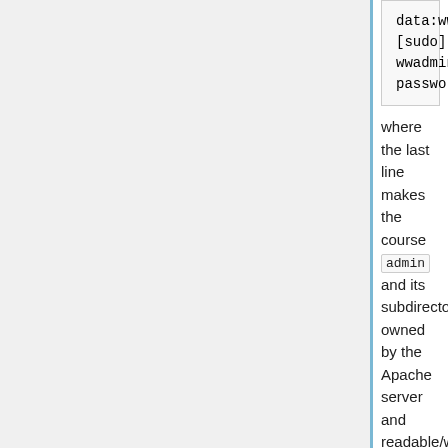[Figure (screenshot): Code block showing: data:www-data  admin
[sudo] password for
wwadmin: <wwadmin
password>]
where the last line makes the course admin and its subdirectories owned by the Apache server and readable/writeable by the wwadmin user.
Now go to http://yourserver.yourschool. and should see the WeBWorK home page with Course Administration listed at the top. Click on it and login with Username admin and Password admin . This first thing you should do is register your new WeBWorK installation. It's quick and easy, just click